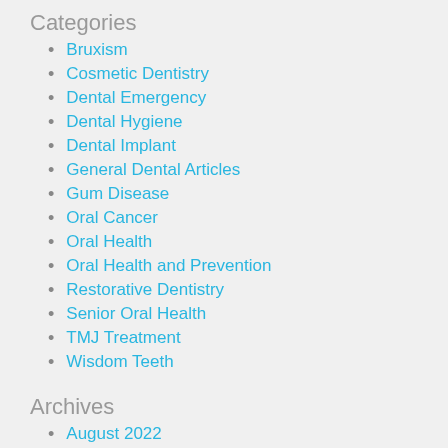Categories
Bruxism
Cosmetic Dentistry
Dental Emergency
Dental Hygiene
Dental Implant
General Dental Articles
Gum Disease
Oral Cancer
Oral Health
Oral Health and Prevention
Restorative Dentistry
Senior Oral Health
TMJ Treatment
Wisdom Teeth
Archives
August 2022
July 2022
June 2022